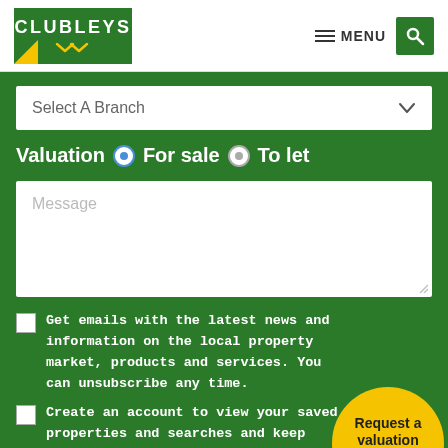[Figure (logo): Clubleys estate agent logo — green rectangle with white CLUBLEYS text and yellow chevron, yellow corner triangle]
MENU
[Figure (other): Green search button with magnifying glass icon]
Select A Branch
Valuation  For sale  To let
Message
Get emails with the latest news and information on the local property market, products and services. You can unsubscribe any time.
Create an account to view your saved properties and searches and keep your personal details up-to-date.
[Figure (other): Yellow circular CTA bubble with 'Request a valuation CLICK HERE' text and green button]